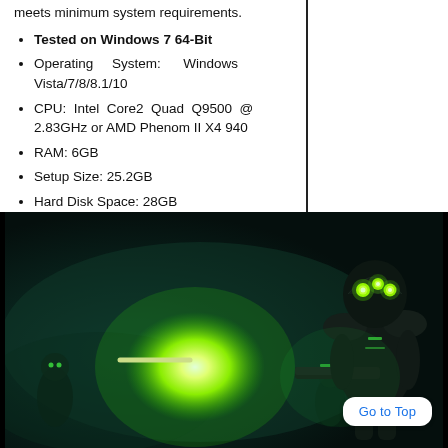meets minimum system requirements.
Tested on Windows 7 64-Bit
Operating System: Windows Vista/7/8/8.1/10
CPU: Intel Core2 Quad Q9500 @ 2.83GHz or AMD Phenom II X4 940
RAM: 6GB
Setup Size: 25.2GB
Hard Disk Space: 28GB
[Figure (screenshot): Dark sci-fi game screenshot showing an armored robot/alien soldier with glowing green eyes holding a weapon, with a bright green muzzle flash/explosion visible in the foreground against a dark teal background.]
Go to Top